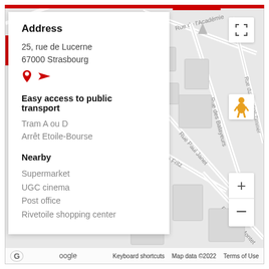[Figure (map): Google Maps screenshot showing street map of Strasbourg area around Rue de l'Académie, Rue des Balayeurs, Rue du Général-Zimmer, Rue Paul Janet, Rue Fritz, Rue Pierre Montet. Map controls (zoom +/-, street view, fullscreen) visible on right side. Google logo and map credits at bottom.]
Address
25, rue de Lucerne
67000 Strasbourg
Easy access to public transport
Tram A ou D
Arrêt Etoile-Bourse
Nearby
Supermarket
UGC cinema
Post office
Rivetoile shopping center
Keyboard shortcuts   Map data ©2022   Terms of Use